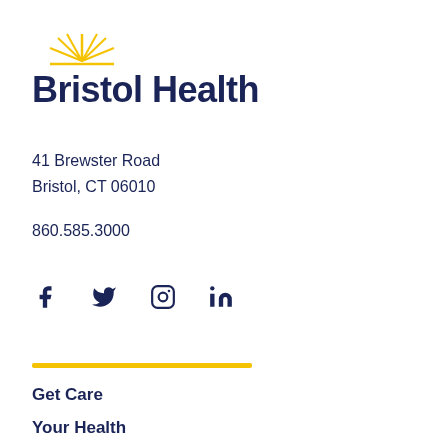[Figure (logo): Bristol Health logo with golden sunburst rays above a horizontal line, followed by the text 'Bristol Health' in dark navy blue bold font]
41 Brewster Road
Bristol, CT 06010
860.585.3000
[Figure (infographic): Social media icons: Facebook, Twitter, Instagram, LinkedIn in dark navy blue]
Get Care
Your Health